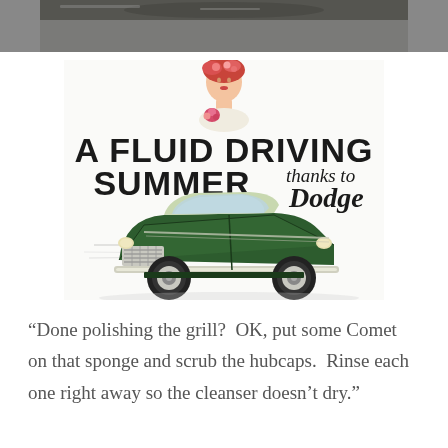[Figure (photo): Top portion of a dark blurry photograph, appears to be a close-up of some objects, partially visible at the top of the page]
[Figure (illustration): Vintage Dodge automobile advertisement illustration titled 'A Fluid Driving Summer thanks to Dodge'. Shows a woman in a hat at top, large bold text, and a green vintage convertible car at the bottom of the ad.]
“Done polishing the grill?  OK, put some Comet on that sponge and scrub the hubcaps.  Rinse each one right away so the cleanser doesn’t dry.”